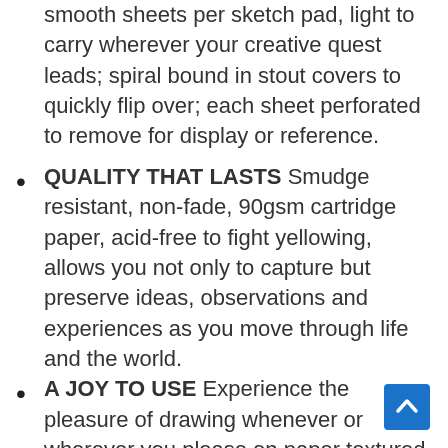smooth sheets per sketch pad, light to carry wherever your creative quest leads; spiral bound in stout covers to quickly flip over; each sheet perforated to remove for display or reference.
QUALITY THAT LASTS Smudge resistant, non-fade, 90gsm cartridge paper, acid-free to fight yellowing, allows you not only to capture but preserve ideas, observations and experiences as you move through life and the world.
A JOY TO USE Experience the pleasure of drawing whenever or wherever you please on paper textured to “grip” dry media, giving you freedom to try graphite pencils, charcoal, pastels, colored pencils or gel pens.
TUTORIAL TO BUILD YOUR SKILLS This simple learning aid unfolds in 5 stages to reveal the know-how to draw the impressive knights on the cover and apply the lessons to your own work.
TESTED, TRUSTED AND GUARANTEED Tested